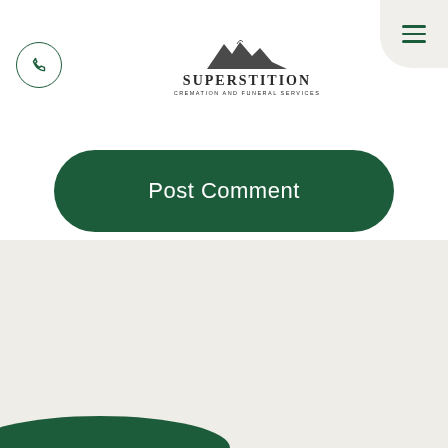[Figure (logo): Superstition Cremation and Funeral Services logo with mountain silhouette above text]
[Figure (other): Phone icon inside a circle outline, dark green color]
[Figure (other): Hamburger menu icon with three horizontal dark green lines on a rounded light gray background panel]
Post Comment
[Figure (other): Light gray footer section with dark green curved decorative bar at the bottom edge]